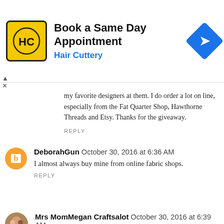[Figure (screenshot): Hair Cuttery advertisement banner: yellow square logo with HC text, 'Book a Same Day Appointment' headline, 'Hair Cuttery' subtitle in blue, blue diamond directional arrow icon on right]
my favorite designers at them. I do order a lot on line, especially from the Fat Quarter Shop, Hawthorne Threads and Etsy. Thanks for the giveaway.
REPLY
DeborahGun October 30, 2016 at 6:36 AM
I almost always buy mine from online fabric shops.
REPLY
Mrs MomMegan Craftsalot October 30, 2016 at 6:39 AM
Thanks for the chance to win. I shop online and at my local quilt shop.
REPLY